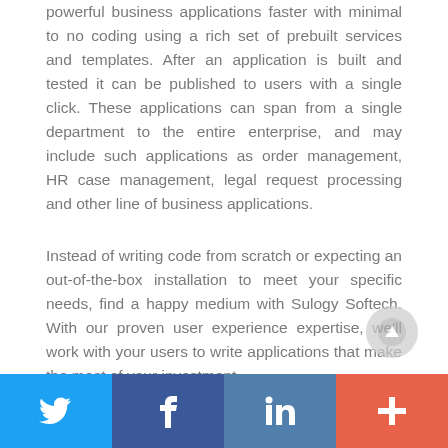powerful business applications faster with minimal to no coding using a rich set of prebuilt services and templates. After an application is built and tested it can be published to users with a single click. These applications can span from a single department to the entire enterprise, and may include such applications as order management, HR case management, legal request processing and other line of business applications.
Instead of writing code from scratch or expecting an out-of-the-box installation to meet your specific needs, find a happy medium with Sulogy Softech. With our proven user experience expertise, we'll work with your users to write applications that make the most of your investment.
[Figure (other): Social media share buttons footer bar: Twitter (blue), Facebook (dark blue), LinkedIn (medium blue), Plus/share (orange-red)]